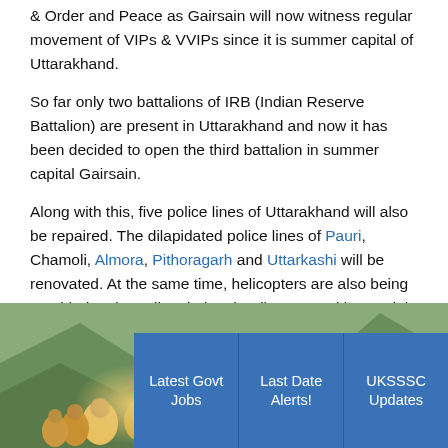& Order and Peace as Gairsain will now witness regular movement of VIPs & VVIPs since it is summer capital of Uttarakhand.
So far only two battalions of IRB (Indian Reserve Battalion) are present in Uttarakhand and now it has been decided to open the third battalion in summer capital Gairsain.
Along with this, five police lines of Uttarakhand will also be repaired. The dilapidated police lines of Pauri, Chamoli, Almora, Pithoragarh and Uttarkashi will be renovated. At the same time, helicopters are also being provided to the police during the disaster and in special circumstances as an air service so that in emergency situations, the police can reach the spot as soon as possible.
[Figure (photo): Photo of people/crowd in an outdoor mountainous setting with blue overlay buttons showing Latest Govt Jobs, Last Date Alerts!, and UKSSSC Updates]